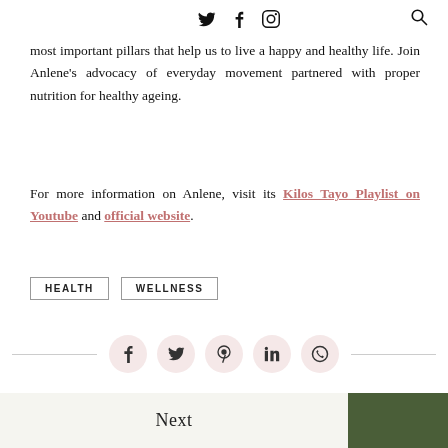Twitter Facebook Instagram [Search]
most important pillars that help us to live a happy and healthy life. Join Anlene’s advocacy of everyday movement partnered with proper nutrition for healthy ageing.
For more information on Anlene, visit its Kilos Tayo Playlist on Youtube and official website.
HEALTH
WELLNESS
[Figure (infographic): Social share bar with Facebook, Twitter, Pinterest, LinkedIn, WhatsApp circular icon buttons on pink background, flanked by horizontal lines]
Next